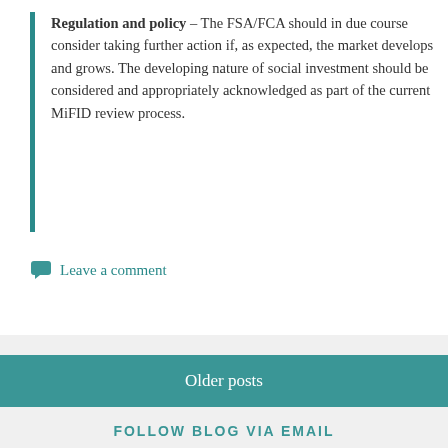Regulation and policy – The FSA/FCA should in due course consider taking further action if, as expected, the market develops and grows. The developing nature of social investment should be considered and appropriately acknowledged as part of the current MiFID review process.
Leave a comment
Older posts
FOLLOW BLOG VIA EMAIL